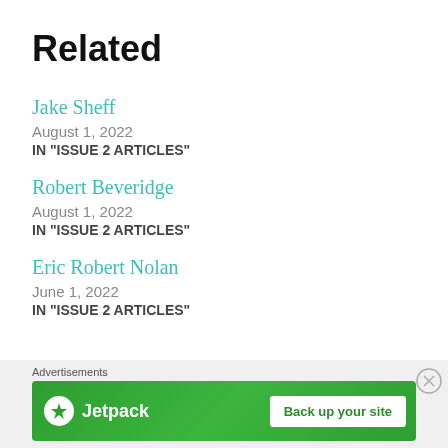Related
Jake Sheff
August 1, 2022
IN "ISSUE 2 ARTICLES"
Robert Beveridge
August 1, 2022
IN "ISSUE 2 ARTICLES"
Eric Robert Nolan
June 1, 2022
IN "ISSUE 2 ARTICLES"
[Figure (screenshot): Jetpack advertisement banner with green background, Jetpack logo on left, and 'Back up your site' button on right]
Advertisements